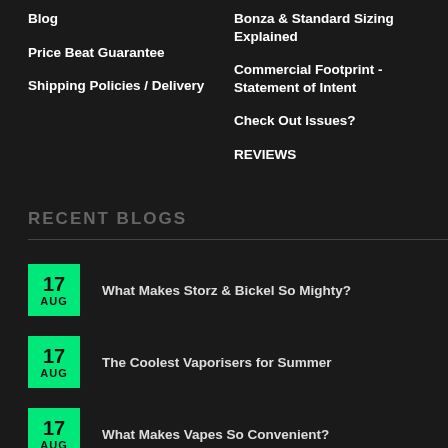Blog
Price Beat Guarantee
Shipping Policies / Delivery
Bonza & Standard Sizing Explained
Commercial Footprint - Statement of Intent
Check Out Issues?
REVIEWS
RECENT BLOGS
17 AUG — What Makes Storz & Bickel So Mighty?
17 AUG — The Coolest Vaporisers for Summer
17 AUG — What Makes Vapes So Convenient?
17 AUG — A Guide to PAX Vaporisers